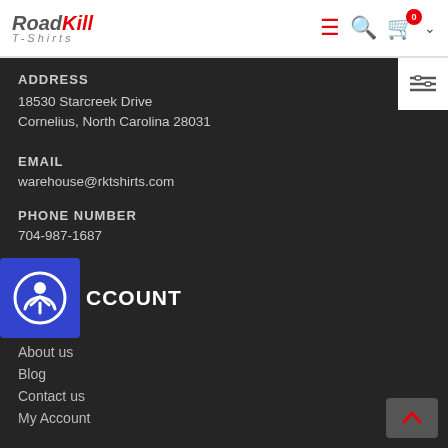RoadKill T-Shirts — navigation header
ADDRESS
18530 Starcreek Drive
Cornelius, North Carolina 28031
EMAIL
warehouse@rktshirts.com
PHONE NUMBER
704-987-1687
MY ACCOUNT
About us
Blog
Contact us
My Account
Order history
Advanced search
Don't sell my personal Information